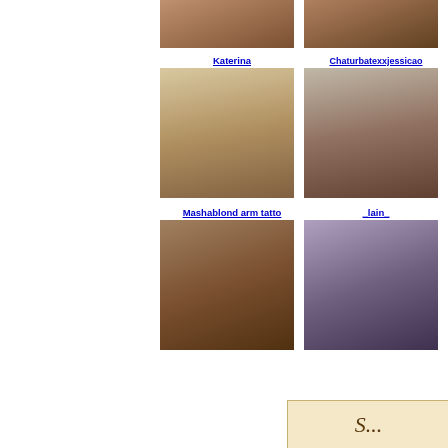[Figure (photo): Thumbnail image top-left (partial, cropped at top)]
[Figure (photo): Thumbnail image top-right (partial, cropped at top)]
Katerina
Chaturbatexxjessicao
[Figure (photo): Katerina thumbnail image]
[Figure (photo): Chaturbatexxjessicao thumbnail image]
Mashablond arm tatto
_lain_
[Figure (photo): Mashablond arm tatto thumbnail image]
[Figure (photo): _lain_ thumbnail image]
[Figure (other): Partial decorative box at bottom right with stylized text beginning with S]